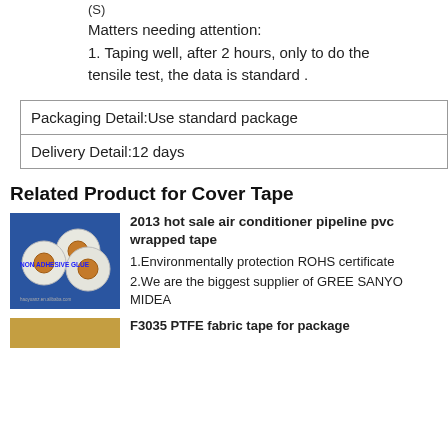(S)
Matters needing attention:
1. Taping well, after 2 hours, only to do the tensile test, the data is standard .
| Packaging Detail:Use standard package |
| Delivery Detail:12 days |
Related Product for Cover Tape
[Figure (photo): Three rolls of white non-adhesive tape on blue background with text NON ADHESIVE GLUE]
2013 hot sale air conditioner pipeline pvc wrapped tape
1.Environmentally protection ROHS certificate
2.We are the biggest supplier of GREE SANYO MIDEA
[Figure (photo): Partial view of a gold/brown tape roll]
F3035 PTFE fabric tape for package